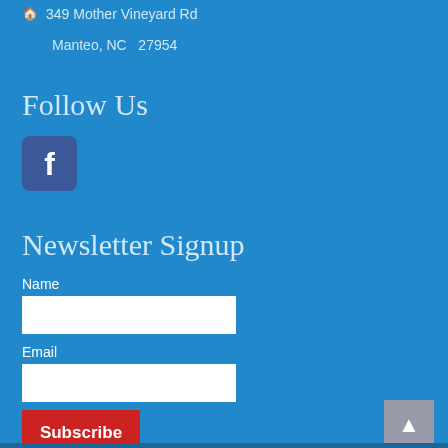349 Mother Vineyard Rd
Manteo, NC  27954
Follow Us
[Figure (logo): Facebook logo icon — blue square with rounded corners and white letter f]
Newsletter Signup
Name
Email
Subscribe